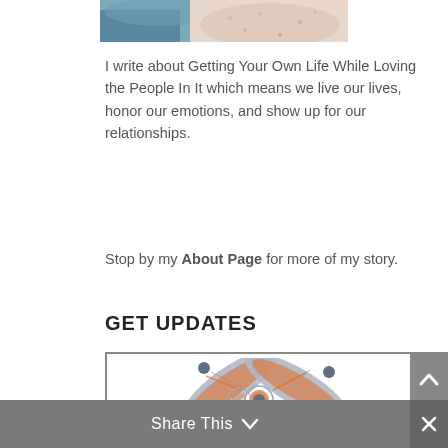[Figure (photo): Partial cropped photo of a person visible at top of page]
I write about Getting Your Own Life While Loving the People In It which means we live our lives, honor our emotions, and show up for our relationships.
Stop by my About Page for more of my story.
GET UPDATES
[Figure (illustration): Illustration of a dragonfly with orange and grey wings inside a bordered newsletter signup box]
Share This ∨  ×